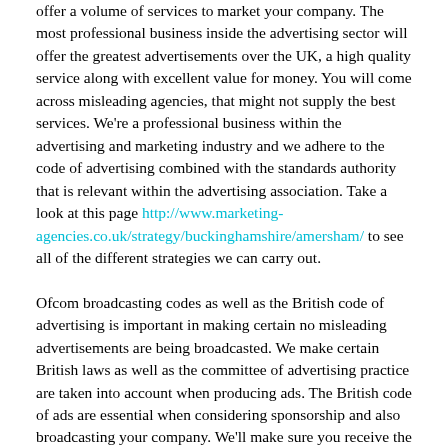offer a volume of services to market your company. The most professional business inside the advertising sector will offer the greatest advertisements over the UK, a high quality service along with excellent value for money. You will come across misleading agencies, that might not supply the best services. We're a professional business within the advertising and marketing industry and we adhere to the code of advertising combined with the standards authority that is relevant within the advertising association. Take a look at this page http://www.marketing-agencies.co.uk/strategy/buckinghamshire/amersham/ to see all of the different strategies we can carry out.
Ofcom broadcasting codes as well as the British code of advertising is important in making certain no misleading advertisements are being broadcasted. We make certain British laws as well as the committee of advertising practice are taken into account when producing ads. The British code of ads are essential when considering sponsorship and also broadcasting your company. We'll make sure you receive the greatest results from our advertisements, because we are a specialist company who aim to offer our clients the best value whilst staying closest to their